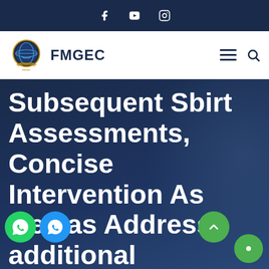Social media icons: Facebook, YouTube, Instagram
[Figure (logo): FMGEC logo: circular emblem with globe and hands, text FMGEC beside it, hamburger menu and search icon on right]
Subsequent Sbirt Assessments, Concise Intervention As well as Address additional resources It is possible to Medication During